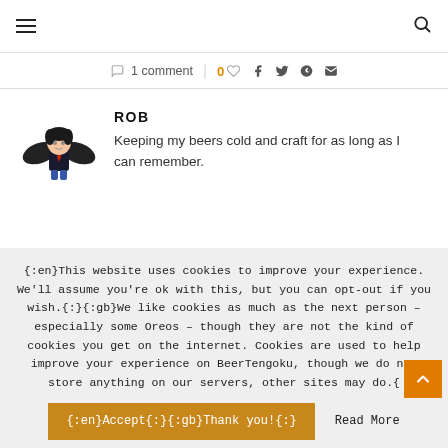≡ [hamburger menu] | [search icon]
○ 1 comment | 0 ♡ f 𝕏 reddit ✉
ROB
Keeping my beers cold and craft for as long as I can remember.
{:en}This website uses cookies to improve your experience. We'll assume you're ok with this, but you can opt-out if you wish.{:}{:gb}We like cookies as much as the next person – especially some Oreos – though they are not the kind of cookies you get on the internet. Cookies are used to help improve your experience on BeerTengoku, though we do not store anything on our servers, other sites may do.{
{:en}Accept{:}{:gb}Thank you!{:}    Read More